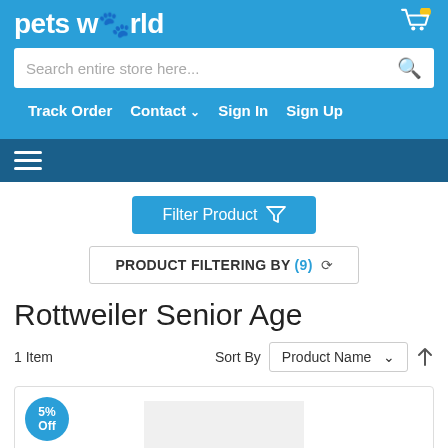petsworld
Search entire store here...
Track Order   Contact   Sign In   Sign Up
[Figure (screenshot): Hamburger menu icon (three horizontal white lines) on dark blue bar]
Filter Product
PRODUCT FILTERING BY (9)
Rottweiler Senior Age
1 Item
Sort By   Product Name
5% Off